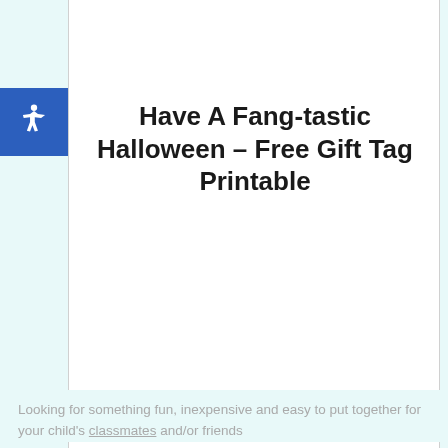[Figure (photo): Dark Halloween-themed banner image with text 'FREE PRINTABLE & party favor idea' in typewriter-style font on a smoky dark green/gray background]
Have A Fang-tastic Halloween – Free Gift Tag Printable
Looking for something fun, inexpensive and easy to put together for your child's classmates and/or friends